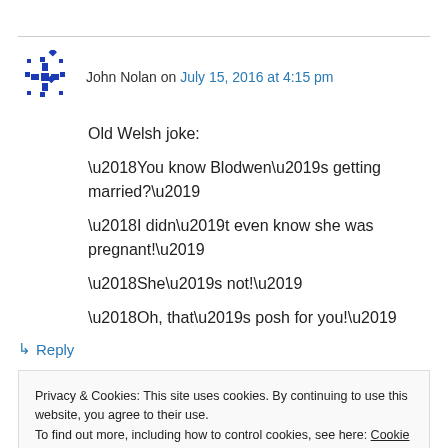John Nolan on July 15, 2016 at 4:15 pm
Old Welsh joke:

‘You know Blodwen’s getting married?’
‘I didn’t even know she was pregnant!’
‘She’s not!’
‘Oh, that’s posh for you!’
↵ Reply
Privacy & Cookies: This site uses cookies. By continuing to use this website, you agree to their use.
To find out more, including how to control cookies, see here: Cookie Policy